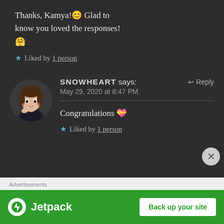Thanks, Kamya!😊 Glad to know you loved the responses! 🤗
★ Liked by 1 person
SNOWHEART says:   ↩ Reply
May 29, 2020 at 8:47 PM
Congratulations 💝
★ Liked by 1 person
Advertisements
[Figure (screenshot): Jetpack advertisement banner with green background showing Jetpack logo and 'Back up your site' button]